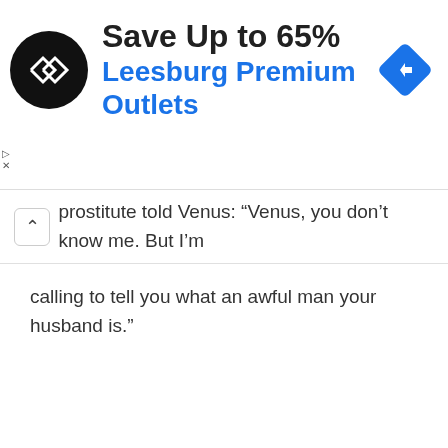[Figure (screenshot): Ad banner for Leesburg Premium Outlets with logo, 'Save Up to 65%' text, brand name in blue, navigation icon, and ad attribution labels]
prostitute told Venus: “Venus, you don’t know me. But I’m calling to tell you what an awful man your husband is.”